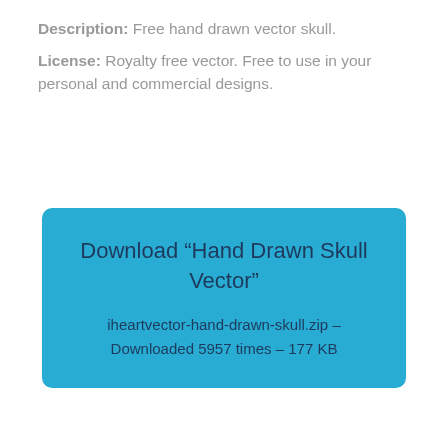Description: Free hand drawn vector skull.
License: Royalty free vector. Free to use in your personal and commercial designs.
[Figure (other): Blue rounded rectangle button/box containing download information for 'Hand Drawn Skull Vector' file: iheartvector-hand-drawn-skull.zip – Downloaded 5957 times – 177 KB]